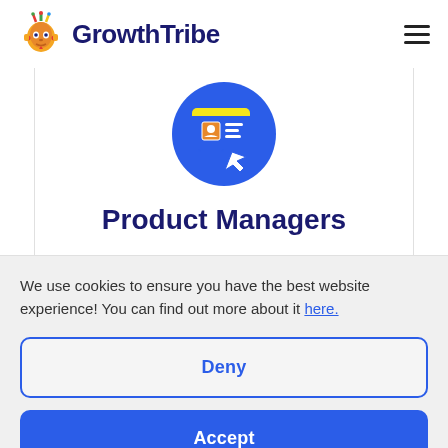GrowthTribe
[Figure (illustration): Circular blue icon with a yellow card/profile graphic with a cursor arrow pointing at it]
Product Managers
We use cookies to ensure you have the best website experience! You can find out more about it here.
Deny
Accept
Preferences